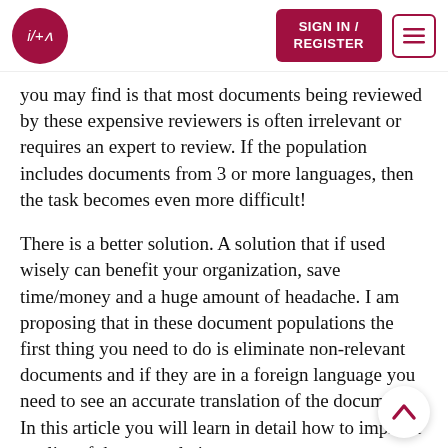i/+a | SIGN IN / REGISTER
you may find is that most documents being reviewed by these expensive reviewers is often irrelevant or requires an expert to review. If the population includes documents from 3 or more languages, then the task becomes even more difficult!
There is a better solution. A solution that if used wisely can benefit your organization, save time/money and a huge amount of headache. I am proposing that in these document populations the first thing you need to do is eliminate non-relevant documents and if they are in a foreign language you need to see an accurate translation of the document. In this article you will learn in detail how to improve quality of these translations